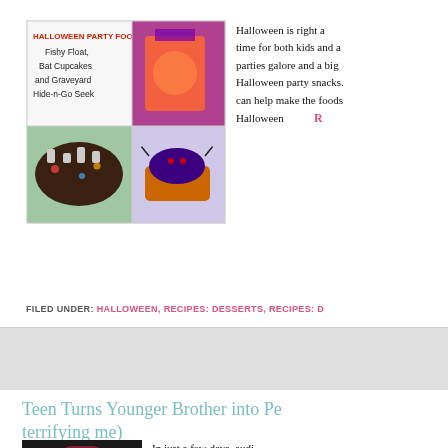[Figure (photo): Halloween Party Foods collage image showing Fishy Float, Bat Cupcakes and Graveyard Hide-n-Go Seek with food photos]
Halloween is right a... time for both kids and a... parties galore and a big ... Halloween party snacks... can help make the foods... Halloween R...
FILED UNDER: HALLOWEEN, RECIPES: DESSERTS, RECIPES: D...
Teen Turns Younger Brother into Pe... terrifying me)
[Figure (photo): Dark photo thumbnail for the Teen article]
In just a few days, audi...